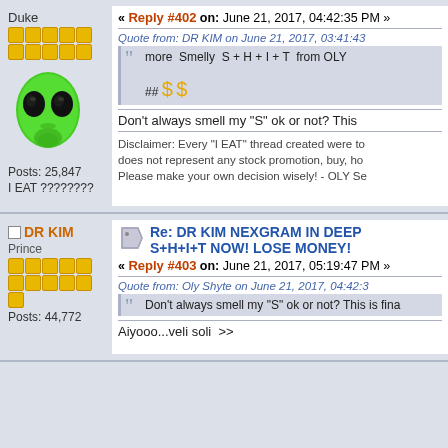Duke
Posts: 25,847
I EAT ????????
« Reply #402 on: June 21, 2017, 04:42:35 PM »
Quote from: DR KIM on June 21, 2017, 03:41:43
more  Smelly  S + H + I + T  from OLY
## $ $
Don't always smell my "S" ok or not? This
Disclaimer: Every "I EAT" thread created were to
does not represent any stock promotion, buy, ho
Please make your own decision wisely! - OLY Se
DR KIM
Prince
Posts: 44,772
Re: DR KIM NEXGRAM IN DEEP S+H+I+T NOW! LOSE MONEY!
« Reply #403 on: June 21, 2017, 05:19:47 PM »
Quote from: Oly Shyte on June 21, 2017, 04:42:3
Don't always smell my "S" ok or not? This is fina
Aiyooo...veli soli  >>